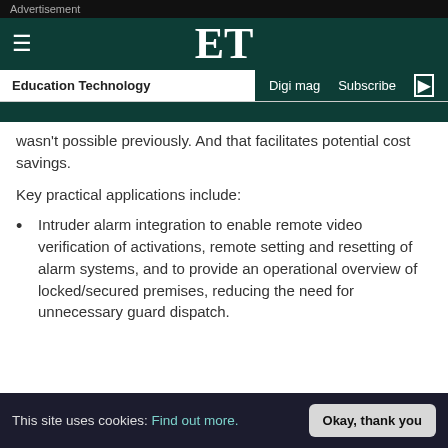Advertisement
ET  Education Technology  Digi mag  Subscribe
wasn't possible previously. And that facilitates potential cost savings.
Key practical applications include:
Intruder alarm integration to enable remote video verification of activations, remote setting and resetting of alarm systems, and to provide an operational overview of locked/secured premises, reducing the need for unnecessary guard dispatch.
This site uses cookies: Find out more.  Okay, thank you